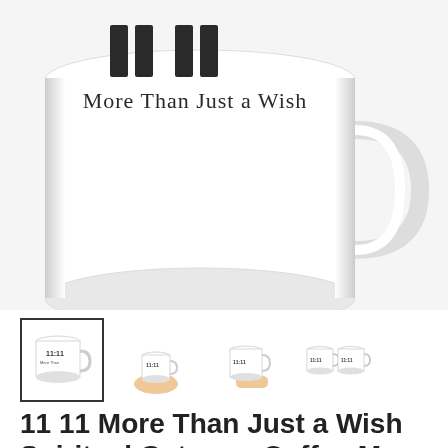[Figure (photo): Close-up photo of a white ceramic coffee mug with '11:11' and 'More Than Just a Wish' printed on it, shown against a white background. The mug handle is visible on the right.]
[Figure (photo): Four product thumbnail images of the 11:11 coffee mug: front view with border selected, mug held in hand, mug held by hand sideways, and two mugs side by side.]
11 11 More Than Just a Wish Spiritual Gateway Coffee Mug